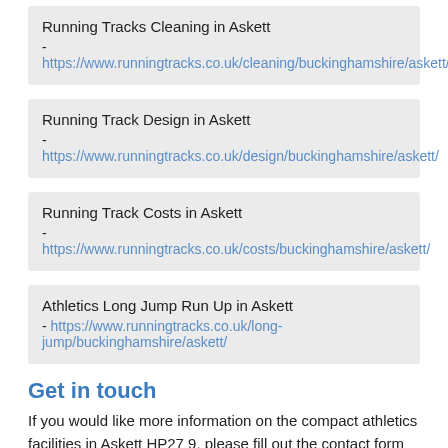Running Tracks Cleaning in Askett
- https://www.runningtracks.co.uk/cleaning/buckinghamshire/askett/
Running Track Design in Askett
- https://www.runningtracks.co.uk/design/buckinghamshire/askett/
Running Track Costs in Askett
- https://www.runningtracks.co.uk/costs/buckinghamshire/askett/
Athletics Long Jump Run Up in Askett
- https://www.runningtracks.co.uk/long-jump/buckinghamshire/askett/
Get in touch
If you would like more information on the compact athletics facilities in Askett HP27 9, please fill out the contact form provided. A member of our team will respond to any questions and queries that you have regarding athletics track installation.